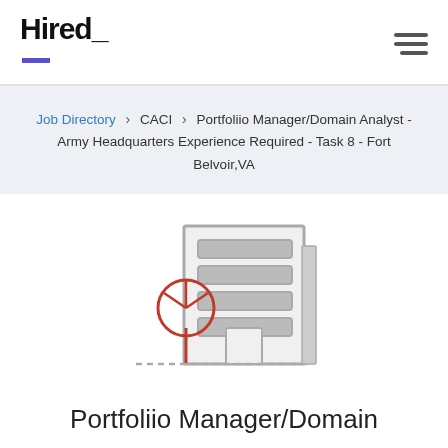Hired_
Job Directory > CACI > Portfoliio Manager/Domain Analyst - Army Headquarters Experience Required - Task 8 - Fort Belvoir,VA
[Figure (illustration): Office building illustration with a red tree icon in front, rendered in a flat line-art style with grey lines on white background.]
Portfoliio Manager/Domain